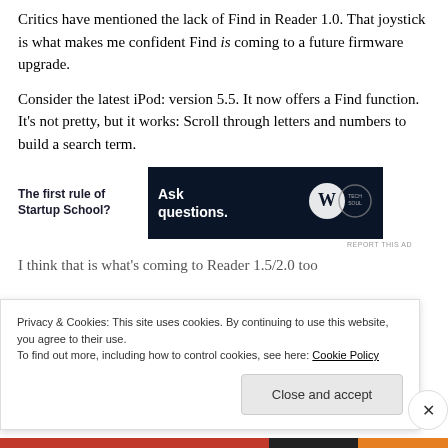Critics have mentioned the lack of Find in Reader 1.0. That joystick is what makes me confident Find is coming to a future firmware upgrade.
Consider the latest iPod: version 5.5. It now offers a Find function. It's not pretty, but it works: Scroll through letters and numbers to build a search term.
[Figure (other): Advertisement banner: left side shows bold text 'The first rule of Startup School?' and right side shows dark navy background with text 'Ask questions.' alongside WordPress and other logos.]
I think that is what's coming to Reader 1.5/2.0 too
Privacy & Cookies: This site uses cookies. By continuing to use this website, you agree to their use.
To find out more, including how to control cookies, see here: Cookie Policy
Close and accept